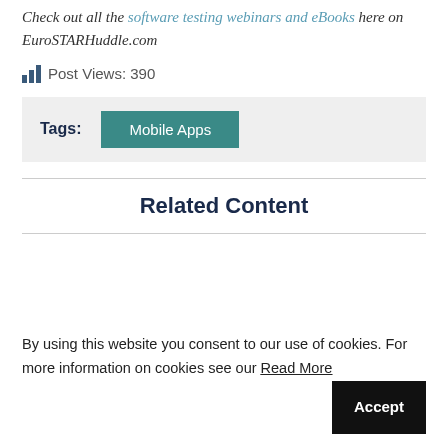Check out all the software testing webinars and eBooks here on EuroSTARHuddle.com
Post Views: 390
Tags: Mobile Apps
Related Content
[Figure (other): Green banner with white circle icon, partial related content image]
By using this website you consent to our use of cookies. For more information on cookies see our Read More Accept